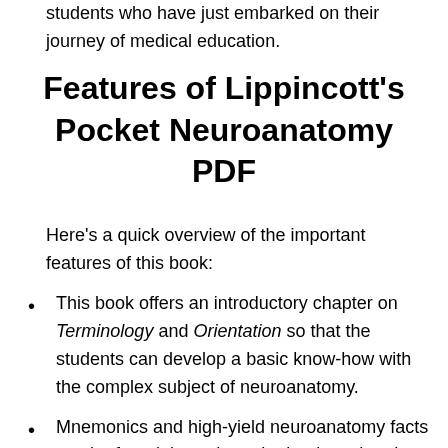students who have just embarked on their journey of medical education.
Features of Lippincott's Pocket Neuroanatomy PDF
Here's a quick overview of the important features of this book:
This book offers an introductory chapter on Terminology and Orientation so that the students can develop a basic know-how with the complex subject of neuroanatomy.
Mnemonics and high-yield neuroanatomy facts can be found throughout the book so that the readers can better retain the learned knowledge.
You will find a consistent presentation of information in the form of descriptions of structures, clinical correlates...